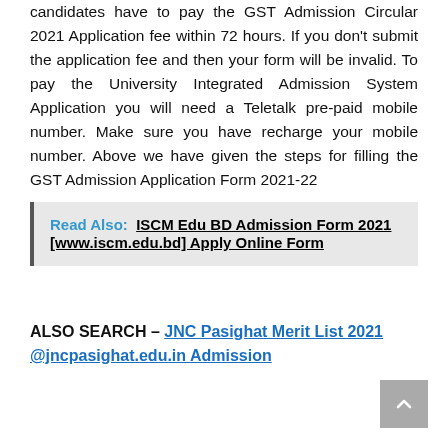candidates have to pay the GST Admission Circular 2021 Application fee within 72 hours. If you don't submit the application fee and then your form will be invalid. To pay the University Integrated Admission System Application you will need a Teletalk pre-paid mobile number. Make sure you have recharge your mobile number. Above we have given the steps for filling the GST Admission Application Form 2021-22
Read Also: ISCM Edu BD Admission Form 2021 [www.iscm.edu.bd] Apply Online Form
ALSO SEARCH – JNC Pasighat Merit List 2021 @jncpasighat.edu.in Admission